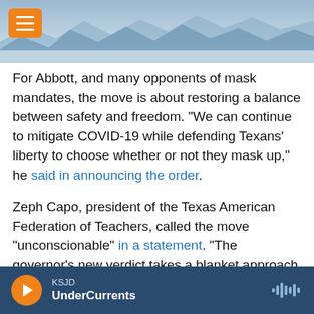[Figure (screenshot): KSJD radio website header with orange menu button, KSJD sunflower logo, blue mountain background, and red Donate button]
For Abbott, and many opponents of mask mandates, the move is about restoring a balance between safety and freedom. "We can continue to mitigate COVID-19 while defending Texans' liberty to choose whether or not they mask up," he said in announcing the order.
Zeph Capo, president of the Texas American Federation of Teachers, called the move "unconscionable" in a statement. "The governor's new verdict takes a blanket approach to addressing what is still extremely dangerous for some Texans — a return to school unmasked."
KSJD UnderCurrents